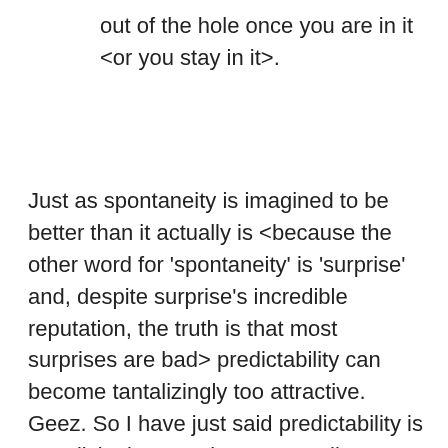out of the hole once you are in it <or you stay in it>.
Just as spontaneity is imagined to be better than it actually is <because the other word for 'spontaneity' is 'surprise' and, despite surprise's incredible reputation, the truth is that most surprises are bad> predictability can become tantalizingly too attractive. Geez. So I have just said predictability is tantalizingly attractive … as well as consistency … and, uh oh, even spontaneity. That certainly explains why